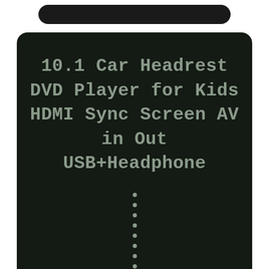10.1 Car Headrest DVD Player for Kids HDMI Sync Screen AV in Out USB+Headphone
[Figure (other): Vertical column of dots below the title text on a dark panel background]